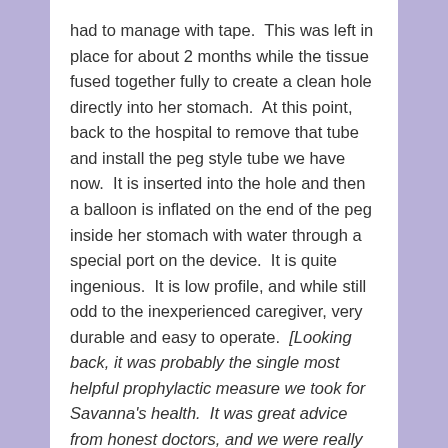had to manage with tape.  This was left in place for about 2 months while the tissue fused together fully to create a clean hole directly into her stomach.  At this point, back to the hospital to remove that tube and install the peg style tube we have now.  It is inserted into the hole and then a balloon is inflated on the end of the peg inside her stomach with water through a special port on the device.  It is quite ingenious.  It is low profile, and while still odd to the inexperienced caregiver, very durable and easy to operate.  [Looking back, it was probably the single most helpful prophylactic measure we took for Savanna's health.  It was great advice from honest doctors, and we were really fortunate to have listened to their council.]  Savanna never liked taking